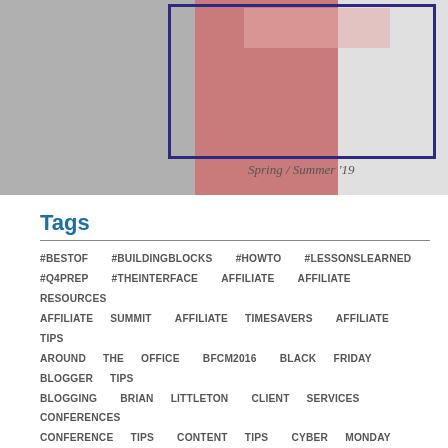[Figure (photo): A fashion/lifestyle collage image showing a person in athletic wear against a brick wall background, with a dark blue rectangle overlaid and a script text reading 'Spring / Summer '19']
Tags
#BESTOF
#BUILDINGBLOCKS
#HOWTO
#LESSONSLEARNED
#Q4PREP
#THEINTERFACE
AFFILIATE
AFFILIATE RESOURCES
AFFILIATE SUMMIT
AFFILIATE TIMESAVERS
AFFILIATE TIPS
AROUND THE OFFICE
BFCM2016
BLACK FRIDAY
BLOGGER TIPS
BLOGGING
BRIAN LITTLETON
CLIENT SERVICES
CONFERENCES
CONFERENCE TIPS
CONTENT TIPS
CYBER MONDAY
FEATURED
FUN FRIDAY
GENERAL NEWS
GIFT GUIDE
GIFT GUIDES
GIFT GUIDES 2016
INTERFACE
MERCHANT FEATURES
MERCHANT FOCUS
MERCHANT PROGRAMS
MERCHANT RESOURCES
MERCHANTS
MERCHANT TIMESAVERS
MERCHANT TIPS
MONTH OF THE INTERFACE
MUST HAVE MERCHANTS
NEW AND NOTABLE
NEW MERCHANTS
PRODUCT DATAFEEDS
Q4